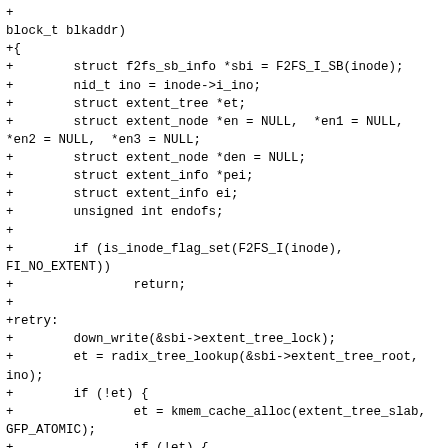+
block_t blkaddr)
+{
+        struct f2fs_sb_info *sbi = F2FS_I_SB(inode);
+        nid_t ino = inode->i_ino;
+        struct extent_tree *et;
+        struct extent_node *en = NULL,  *en1 = NULL,
*en2 = NULL,  *en3 = NULL;
+        struct extent_node *den = NULL;
+        struct extent_info *pei;
+        struct extent_info ei;
+        unsigned int endofs;
+
+        if (is_inode_flag_set(F2FS_I(inode),
FI_NO_EXTENT))
+                return;
+
+retry:
+        down_write(&sbi->extent_tree_lock);
+        et = radix_tree_lookup(&sbi->extent_tree_root,
ino);
+        if (!et) {
+                et = kmem_cache_alloc(extent_tree_slab,
GFP_ATOMIC);
+                if (!et) {
+                        up_write(&sbi-
>extent_tree_lock);
+                        goto retry;
+                }
+                if (radix_tree_insert(&sbi-